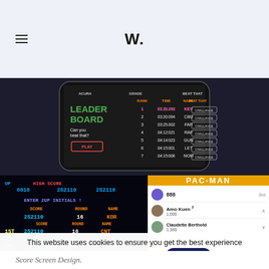W.
[Figure (screenshot): Phone mockup showing a leaderboard game app screen with LEADER BOARD title, columns RANK TIME NAME BEAT THAT, entries for KEV 03:20.092, CBU 03:20.094, FAR 03:25.002, RAF 04:12:021, GUN 04:14:023, LET 04:15:001, NOM 04:15:006, each with CHALLANGE buttons]
[Figure (screenshot): Arcade high score screen showing 252110 score, ENTER 2UP INITIALS, KOR and CNT entries with scores]
[Figure (screenshot): PAC-MAN leaderboard app showing scores: 888 (3rd), Amo Kuen 1,000 (1st), Claudette Berthold 1,360 (2nd), Maby Weinstein]
This website uses cookies to ensure you get the best experience on our website. Cookies Policy
Score Screen Design.